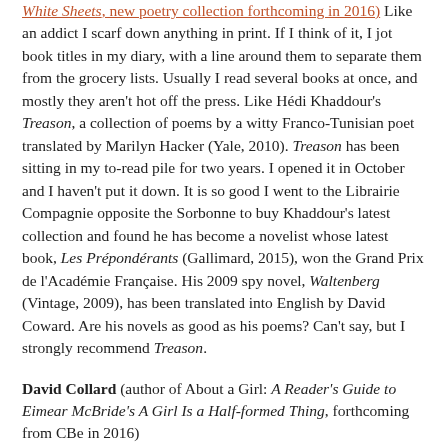White Sheets, new poetry collection forthcoming in 2016). Like an addict I scarf down anything in print. If I think of it, I jot book titles in my diary, with a line around them to separate them from the grocery lists. Usually I read several books at once, and mostly they aren't hot off the press. Like Hédi Khaddour's Treason, a collection of poems by a witty Franco-Tunisian poet translated by Marilyn Hacker (Yale, 2010). Treason has been sitting in my to-read pile for two years. I opened it in October and I haven't put it down. It is so good I went to the Librairie Compagnie opposite the Sorbonne to buy Khaddour's latest collection and found he has become a novelist whose latest book, Les Prépondérants (Gallimard, 2015), won the Grand Prix de l'Académie Française. His 2009 spy novel, Waltenberg (Vintage, 2009), has been translated into English by David Coward. Are his novels as good as his poems? Can't say, but I strongly recommend Treason.
David Collard (author of About a Girl: A Reader's Guide to Eimear McBride's A Girl Is a Half-formed Thing, forthcoming from CBe in 2016)
Published last year in the States and earlier this year in Britain, Michael Hofmann's Where Have You Been? (Faber)